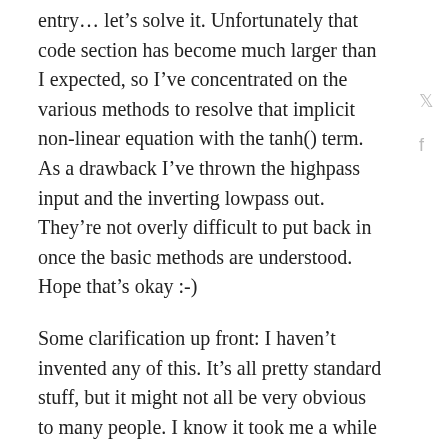entry… let's solve it. Unfortunately that code section has become much larger than I expected, so I've concentrated on the various methods to resolve that implicit non-linear equation with the tanh() term. As a drawback I've thrown the highpass input and the inverting lowpass out. They're not overly difficult to put back in once the basic methods are understood. Hope that's okay :-)
Some clarification up front: I haven't invented any of this. It's all pretty standard stuff, but it might not all be very obvious to many people. I know it took me a while to grasp all of this, and it's a bit frightening to see it laid out so simple in front of me now. Hehehe, but wait for the next chapters. This one is still on the easy gear!
Re-Cap
Here's your standard active lowpass filter, all naked and